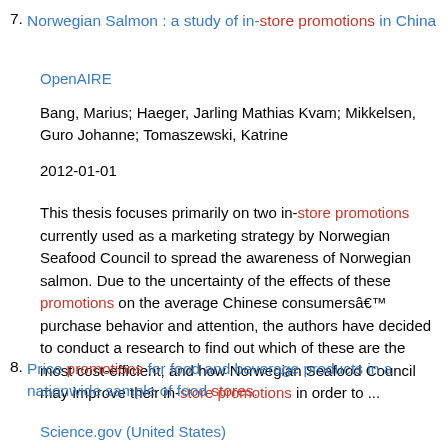7. Norwegian Salmon : a study of in-store promotions in China
OpenAIRE
Bang, Marius; Haeger, Jarling Mathias Kvam; Mikkelsen, Guro Johanne; Tomaszewski, Katrine
2012-01-01
This thesis focuses primarily on two in-store promotions currently used as a marketing strategy by Norwegian Seafood Council to spread the awareness of Norwegian salmon. Due to the uncertainty of the effects of these promotions on the average Chinese consumersâ purchase behavior and attention, the authors have decided to conduct a research to find out which of these are the most cost-efficient, and how Norwegian Seafood Council may improve their in-store promotions in order to ...
8. Price promotions for food and beverage products in a nationwide sample of food stores.
Science.gov (United States)